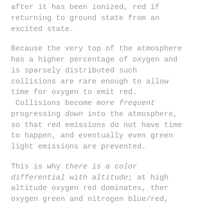after it has been ionized, red if returning to ground state from an excited state.
Because the very top of the atmosphere has a higher percentage of oxygen and is sparsely distributed such collisions are rare enough to allow time for oxygen to emit red.
 Collisions become more frequent progressing down into the atmosphere, so that red emissions do not have time to happen, and eventually even green light emissions are prevented.
This is why there is a color differential with altitude; at high altitude oxygen red dominates, ther oxygen green and nitrogen blue/red,